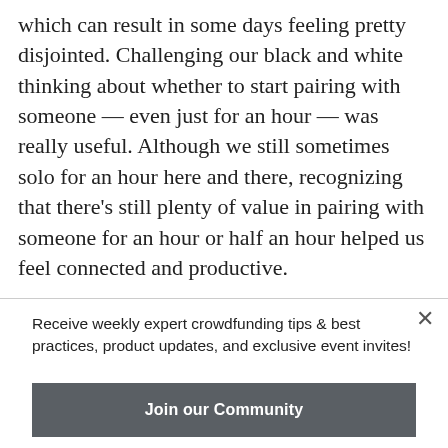which can result in some days feeling pretty disjointed. Challenging our black and white thinking about whether to start pairing with someone — even just for an hour — was really useful. Although we still sometimes solo for an hour here and there, recognizing that there's still plenty of value in pairing with someone for an hour or half an hour helped us feel connected and productive.
Receive weekly expert crowdfunding tips & best practices, product updates, and exclusive event invites!
Join our Community